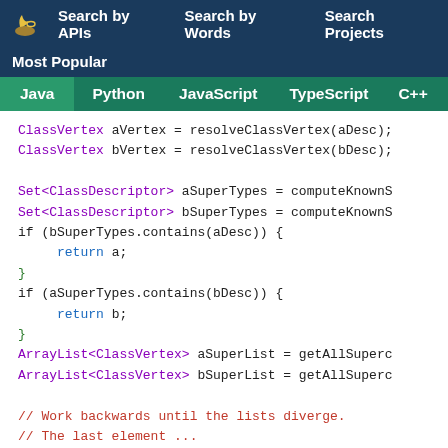Search by APIs   Search by Words   Search Projects
Most Popular
Java   Python   JavaScript   TypeScript   C++   Scala
[Figure (screenshot): Java code snippet showing ClassVertex, Set<ClassDescriptor>, ArrayList<ClassVertex> variable assignments and if-statements with return and comments.]